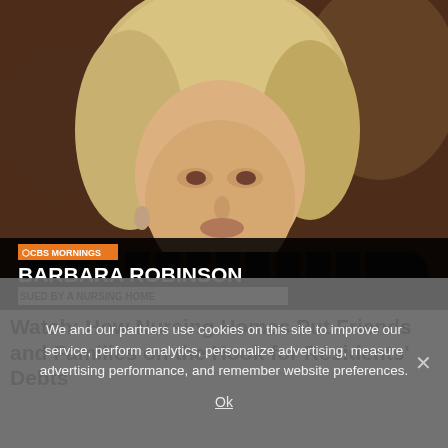[Figure (screenshot): CBS Mornings news screenshot showing an elderly woman named Barbara Robinson with lower-third graphic reading 'BARBARA ROBINSON / SUED BY A NURSING HOME']
Watch: How Nursing Homes Put Friends and Families on the Hook for Residents' Debts
We and our partners use cookies on this site to improve our service, perform analytics, personalize advertising, measure advertising performance, and remember website preferences.
Ok